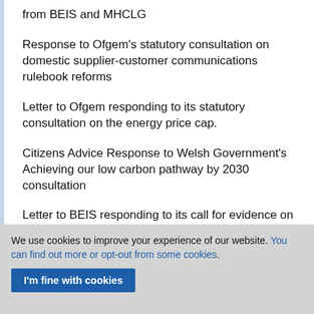from BEIS and MHCLG
Response to Ofgem's statutory consultation on domestic supplier-customer communications rulebook reforms
Letter to Ofgem responding to its statutory consultation on the energy price cap.
Citizens Advice Response to Welsh Government's Achieving our low carbon pathway by 2030 consultation
Letter to BEIS responding to its call for evidence on the electricity capacity market
We use cookies to improve your experience of our website. You can find out more or opt-out from some cookies.